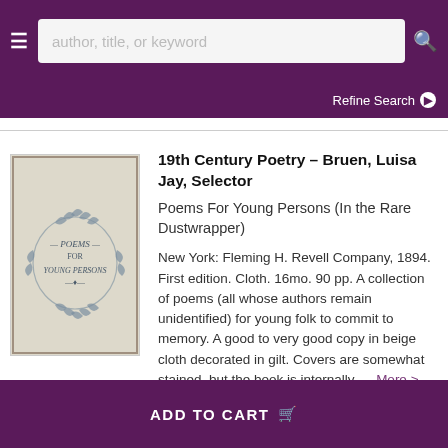author, title, or keyword [search bar] | Refine Search
[Figure (photo): Photo of a book cover titled 'Poems For Young Persons', beige cloth with a decorative blue floral wreath design]
19th Century Poetry - Bruen, Luisa Jay, Selector
Poems For Young Persons (In the Rare Dustwrapper)
New York: Fleming H. Revell Company, 1894. First edition. Cloth. 16mo. 90 pp. A collection of poems (all whose authors remain unidentified) for young folk to commit to memory. A good to very good copy in beige cloth decorated in gilt. Covers are somewhat stained, but the book is internally..... More >
ADD TO CART